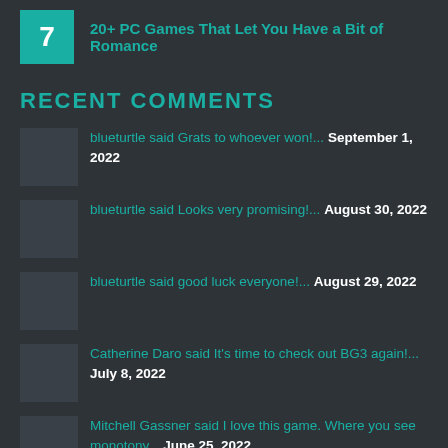7  20+ PC Games That Let You Have a Bit of Romance
RECENT COMMENTS
blueturtle said Grats to whoever won!...  September 1, 2022
blueturtle said Looks very promising!...  August 30, 2022
blueturtle said good luck everyone!...  August 29, 2022
Catherine Daro said It's time to check out BG3 again!...  July 8, 2022
Mitchell Gassner said I love this game. Where you see monotony...  June 25, 2022
RANDOM REVIEW PICKS